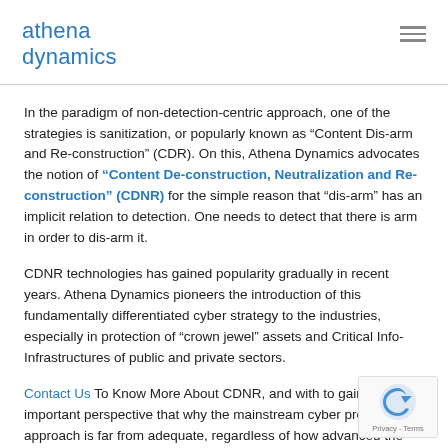athena dynamics
In the paradigm of non-detection-centric approach, one of the strategies is sanitization, or popularly known as “Content Dis-arm and Re-construction” (CDR). On this, Athena Dynamics advocates the notion of “Content De-construction, Neutralization and Re-construction” (CDNR) for the simple reason that “dis-arm” has an implicit relation to detection. One needs to detect that there is arm in order to dis-arm it.
CDNR technologies has gained popularity gradually in recent years. Athena Dynamics pioneers the introduction of this fundamentally differentiated cyber strategy to the industries, especially in protection of “crown jewel” assets and Critical Info-Infrastructures of public and private sectors.
Contact Us To Know More About CDNR, and with to gain an important perspective that why the mainstream cyber protection approach is far from adequate, regardless of how advanced the